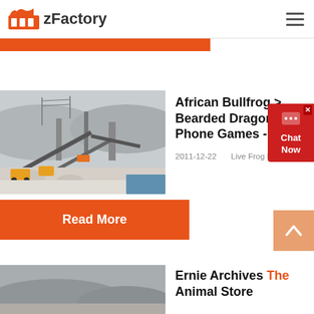zFactory
[Figure (screenshot): Industrial quarry/mining site with conveyor belts and machinery in winter conditions]
African Bullfrog > Bearded Dragon At Phone Games -
2011-12-22   Live Frog Playing 'A...
Read More
Ernie Archives The Animal Store